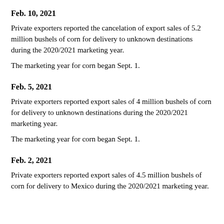Feb. 10, 2021
Private exporters reported the cancelation of export sales of 5.2 million bushels of corn for delivery to unknown destinations during the 2020/2021 marketing year.
The marketing year for corn began Sept. 1.
Feb. 5, 2021
Private exporters reported export sales of 4 million bushels of corn for delivery to unknown destinations during the 2020/2021 marketing year.
The marketing year for corn began Sept. 1.
Feb. 2, 2021
Private exporters reported export sales of 4.5 million bushels of corn for delivery to Mexico during the 2020/2021 marketing year.